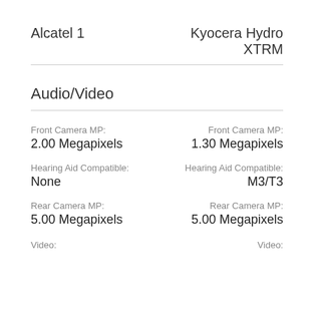Alcatel 1
Kyocera Hydro XTRM
Audio/Video
|  | Alcatel 1 | Kyocera Hydro XTRM |
| --- | --- | --- |
| Front Camera MP: | 2.00 Megapixels | 1.30 Megapixels |
| Hearing Aid Compatible: | None | M3/T3 |
| Rear Camera MP: | 5.00 Megapixels | 5.00 Megapixels |
| Video: |  |  |